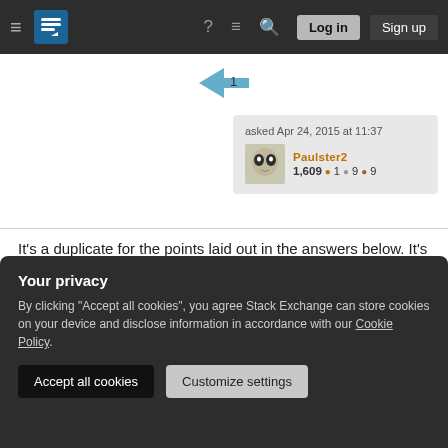Stack Exchange navigation bar with hamburger menu, logo, help, chat, search icons, Log in and Sign up buttons
asked Apr 24, 2015 at 11:37
PAULSTER2
1,609 ●1 ●9 ●9
It's a duplicate for the points laid out in the answers below. It's a question that, should it be reopened, I personally wouldn't have a problem re-closing as a duplicate. Unfortunately this question is not unique under the circumstances, but it is one that we would absolutely welcome in chat for further discussion.
Your privacy
By clicking "Accept all cookies", you agree Stack Exchange can store cookies on your device and disclose information in accordance with our Cookie Policy.
Accept all cookies
Customize settings